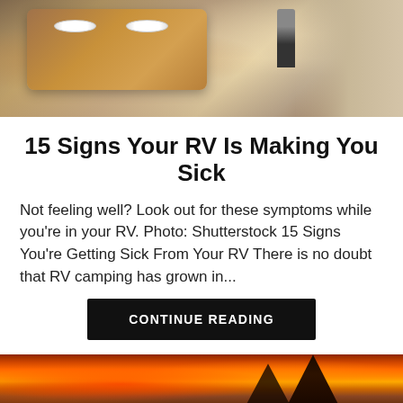[Figure (photo): Interior of an RV showing a wooden dining table with plates, cream-colored seating/couches, and a person standing in the doorway]
15 Signs Your RV Is Making You Sick
Not feeling well? Look out for these symptoms while you're in your RV. Photo: Shutterstock 15 Signs You're Getting Sick From Your RV There is no doubt that RV camping has grown in...
CONTINUE READING
[Figure (photo): Wildfire scene with orange and red flames visible among dark trees against a smoky sky, with hazy landscape below]